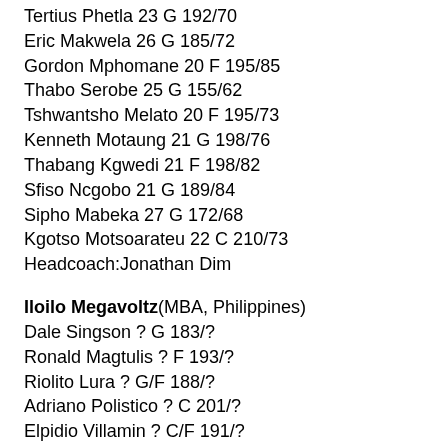Tertius Phetla 23 G 192/70
Eric Makwela 26 G 185/72
Gordon Mphomane 20 F 195/85
Thabo Serobe 25 G 155/62
Tshwantsho Melato 20 F 195/73
Kenneth Motaung 21 G 198/76
Thabang Kgwedi 21 F 198/82
Sfiso Ncgobo 21 G 189/84
Sipho Mabeka 27 G 172/68
Kgotso Motsoarateu 22 C 210/73
Headcoach:Jonathan Dim
Iloilo Megavoltz(MBA, Philippines)
Dale Singson ? G 183/?
Ronald Magtulis ? F 193/?
Riolito Lura ? G/F 188/?
Adriano Polistico ? C 201/?
Elpidio Villamin ? C/F 191/?
Jose Miguel Santamaria ? F 191/?
Quintellano Literal ? G 178/?
Joey Mente ? G 180/?
Vincente Hizon ? G/F 188/?
Homero Cadisem ? G/F 190/?